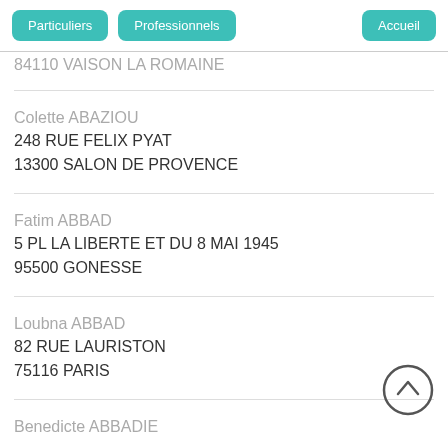Particuliers | Professionnels | Accueil
84110 VAISON LA ROMAINE
Colette ABAZIOU
248 RUE FELIX PYAT
13300 SALON DE PROVENCE
Fatim ABBAD
5 PL LA LIBERTE ET DU 8 MAI 1945
95500 GONESSE
Loubna ABBAD
82 RUE LAURISTON
75116 PARIS
Benedicte ABBADIE